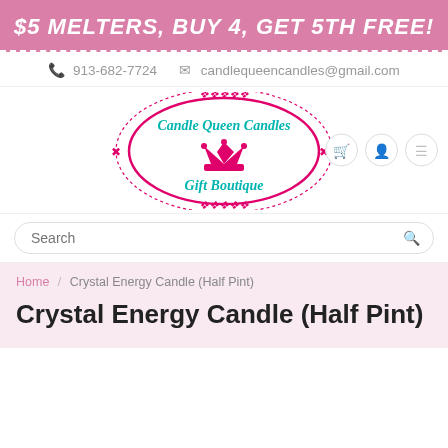$5 MELTERS, BUY 4, GET 5TH FREE!
913-682-7724   candlequeencandles@gmail.com
[Figure (logo): Candle Queen Candles Gift Boutique oval logo with decorative scrollwork and crown, in pink and teal]
Search
Home / Crystal Energy Candle (Half Pint)
Crystal Energy Candle (Half Pint)